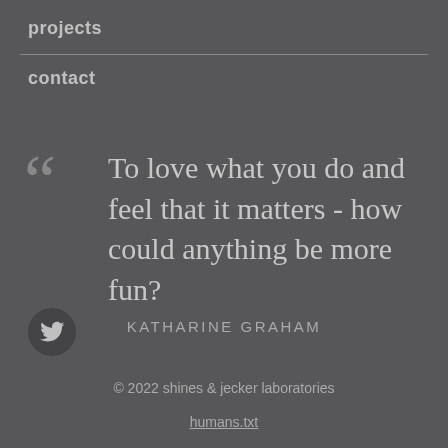projects
contact
““ To love what you do and feel that it matters - how could anything be more fun?
KATHARINE GRAHAM
[Figure (logo): Twitter bird icon in a dark circle]
© 2022 shines & jecker laboratories
humans.txt